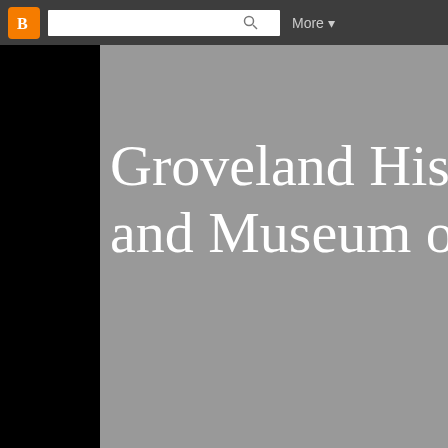Blogger navigation bar with search and More button
Groveland Hist and Museum of
Return
Search This Blog
1923-1926 -
Tried and T
[Figure (logo): Circular logo/emblem at bottom left of page]